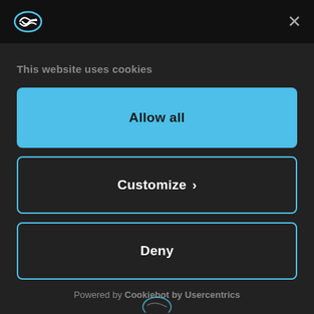[Figure (logo): Oval/shield shaped logo icon in white on dark background, top left of header bar]
×
This website uses cookies
Allow all
Customize ›
Deny
Powered by Cookiebot by Usercentrics